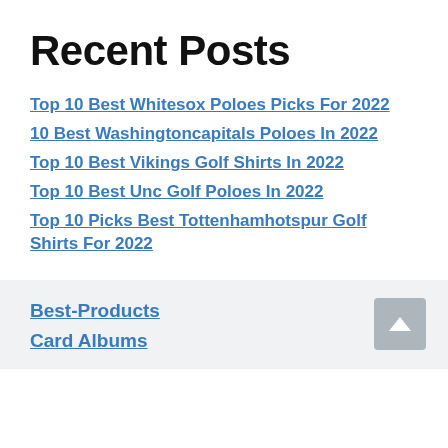Recent Posts
Top 10 Best Whitesox Poloes Picks For 2022
10 Best Washingtoncapitals Poloes In 2022
Top 10 Best Vikings Golf Shirts In 2022
Top 10 Best Unc Golf Poloes In 2022
Top 10 Picks Best Tottenhamhotspur Golf Shirts For 2022
Best-Products
Card Albums